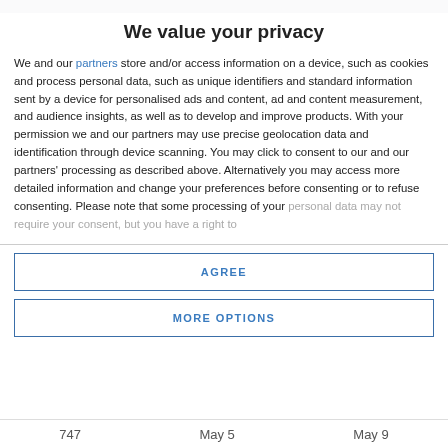We value your privacy
We and our partners store and/or access information on a device, such as cookies and process personal data, such as unique identifiers and standard information sent by a device for personalised ads and content, ad and content measurement, and audience insights, as well as to develop and improve products. With your permission we and our partners may use precise geolocation data and identification through device scanning. You may click to consent to our and our partners' processing as described above. Alternatively you may access more detailed information and change your preferences before consenting or to refuse consenting. Please note that some processing of your personal data may not require your consent, but you have a right to
AGREE
MORE OPTIONS
747   May 5   May 9